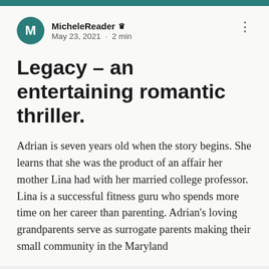MicheleReader ♛
May 23, 2021 · 2 min
Legacy – an entertaining romantic thriller.
Adrian is seven years old when the story begins. She learns that she was the product of an affair her mother Lina had with her married college professor. Lina is a successful fitness guru who spends more time on her career than parenting. Adrian's loving grandparents serve as surrogate parents making their small community in the Maryland